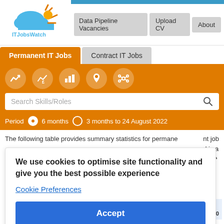[Figure (logo): ITJobsWatch logo with cloud and sun icon above text ITJobsWatch]
Data Pipeline Vacancies | Upload CV | About
Permanent IT Jobs | Contract IT Jobs
[Figure (infographic): Orange toolbar with 5 circular white icons (chart trend, chart with pound, bar chart, location pin, network graph), a search bar labeled Search Skills/Roles, and period selector: Period (filled) 6 months (empty) 3 months to 24 August 2022]
The following table provides summary statistics for permanent job ... d is a ... have ... a
We use cookies to optimise site functionality and give you the best possible experience
Cookie Preferences
Accept
Same
riod 2020